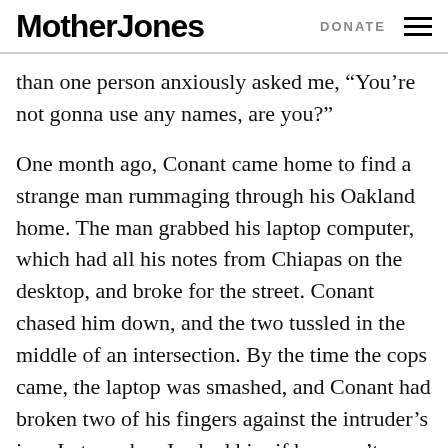Mother Jones  DONATE
than one person anxiously asked me, “You’re not gonna use any names, are you?”
One month ago, Conant came home to find a strange man rummaging through his Oakland home. The man grabbed his laptop computer, which had all his notes from Chiapas on the desktop, and broke for the street. Conant chased him down, and the two tussled in the middle of an intersection. By the time the cops came, the laptop was smashed, and Conant had broken two of his fingers against the intruder’s jaw. Later, when I asked him if he wasn’t scared down in Chiapas, he said, “Yeah, there’s soldiers around, and my friends have died,